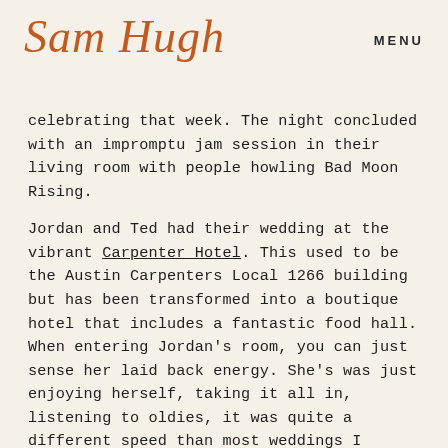Sam Hugh  MENU
celebrating that week. The night concluded with an impromptu jam session in their living room with people howling Bad Moon Rising.

Jordan and Ted had their wedding at the vibrant Carpenter Hotel. This used to be the Austin Carpenters Local 1266 building but has been transformed into a boutique hotel that includes a fantastic food hall. When entering Jordan’s room, you can just sense her laid back energy. She’s was just enjoying herself, taking it all in, listening to oldies, it was quite a different speed than most weddings I attend. Ted wore black jeans, a bowtie, and a tuxedo jacket that extrudes his confident, cool personality. They read personal vows to each other, laughing and tearing up at the right moments. Jordan even just went over to kiss Ted in the middle of the ceremony because it felt right. That evening we were regaled with stories of Jordan and Ted’s adventures, they met at work and had become best friends, being each other’s support system and cheerleader. They kept things professional and only started dating when they worked at separate companies. Their passion is their clothing company they started together (told you they were best